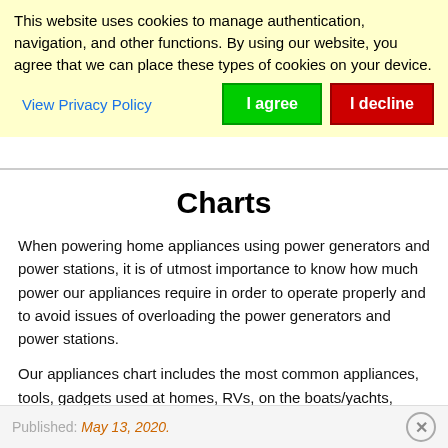This website uses cookies to manage authentication, navigation, and other functions. By using our website, you agree that we can place these types of cookies on your device.
View Privacy Policy
I agree
I decline
Charts
When powering home appliances using power generators and power stations, it is of utmost importance to know how much power our appliances require in order to operate properly and to avoid issues of overloading the power generators and power stations.
Our appliances chart includes the most common appliances, tools, gadgets used at homes, RVs, on the boats/yachts, during camping, etc.
Published: May 13, 2020.